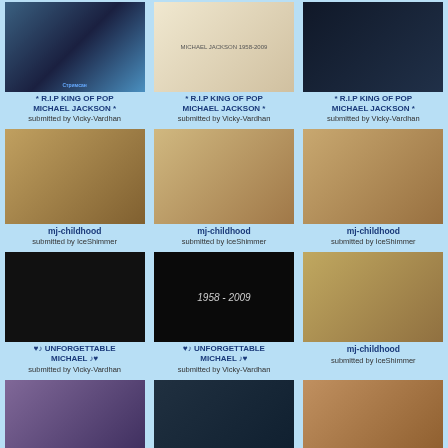[Figure (photo): Screenshot/photo with TV channel logo]
* R.I.P KING OF POP MICHAEL JACKSON *
submitted by Vicky-Vardhan
[Figure (photo): Michael Jackson 1958-2009 memorial image]
* R.I.P KING OF POP MICHAEL JACKSON *
submitted by Vicky-Vardhan
[Figure (photo): Dark photo, possibly concert or tribute]
* R.I.P KING OF POP MICHAEL JACKSON *
submitted by Vicky-Vardhan
[Figure (photo): Sepia childhood photo of Michael Jackson with siblings]
mj-childhood
submitted by IceShimmer
[Figure (photo): Color photo of Michael Jackson in satin shirt]
mj-childhood
submitted by IceShimmer
[Figure (photo): Color photo of Michael Jackson in similar outfit]
mj-childhood
submitted by IceShimmer
[Figure (photo): Collage photo montage of Michael Jackson black and white]
♥♪ UNFORGETTABLE MICHAEL ♪♥
submitted by Vicky-Vardhan
[Figure (photo): Black and white tribute image 1958-2009]
♥♪ UNFORGETTABLE MICHAEL ♪♥
submitted by Vicky-Vardhan
[Figure (photo): Sepia photo of Michael Jackson in traditional outfit]
mj-childhood
submitted by IceShimmer
[Figure (photo): Photo of Michael Jackson with others bottom row left]
[Figure (photo): Photo of Michael Jackson bottom row center]
[Figure (photo): Photo of Michael Jackson bottom row right]